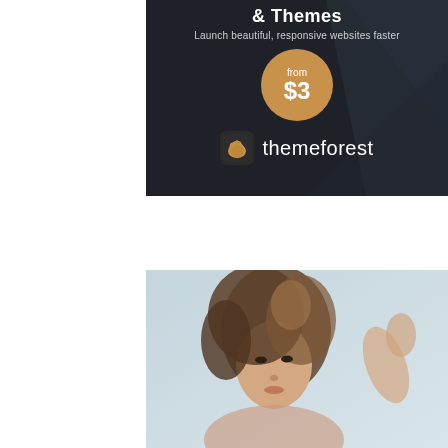[Figure (infographic): ThemeForest advertisement banner with dark background. Shows '& Themes' title, 'Launch beautiful, responsive websites faster' subtitle, a gold/brown circular badge with 'from $3', and ThemeForest logo with hand icon.]
[Figure (photo): Photo of a young Asian woman with long wavy brown hair, looking to the side, light blue/grey background.]